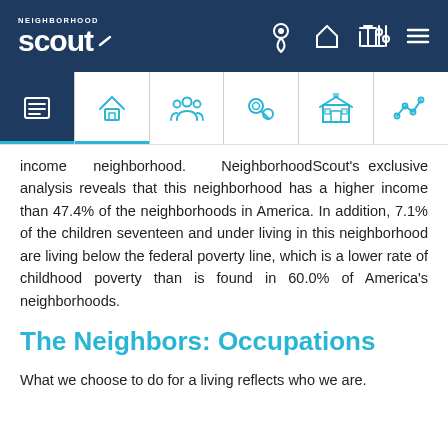Neighborhood Scout — navigation header
[Figure (screenshot): Tab bar with six icons: list/menu (active, dark blue background), home, people/community, crime/search, school/government building, trend line]
income neighborhood. NeighborhoodScout's exclusive analysis reveals that this neighborhood has a higher income than 47.4% of the neighborhoods in America. In addition, 7.1% of the children seventeen and under living in this neighborhood are living below the federal poverty line, which is a lower rate of childhood poverty than is found in 60.0% of America's neighborhoods.
The Neighbors: Occupations
What we choose to do for a living reflects who we are.